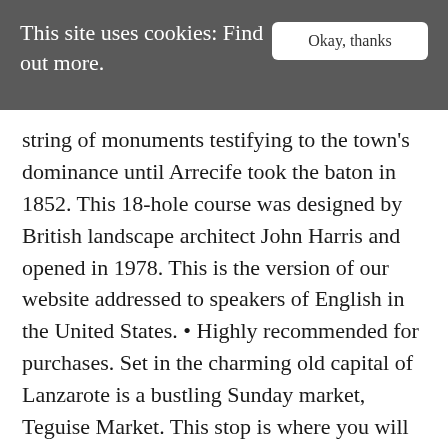This site uses cookies: Find out more.
Okay, thanks
string of monuments testifying to the town's dominance until Arrecife took the baton in 1852. This 18-hole course was designed by British landscape architect John Harris and opened in 1978. This is the version of our website addressed to speakers of English in the United States. • Highly recommended for purchases. Set in the charming old capital of Lanzarote is a bustling Sunday market, Teguise Market. This stop is where you will get two hours to enjoy the pleasant morning at the market while doing shopping, eating and more shopping. Ministerio d...